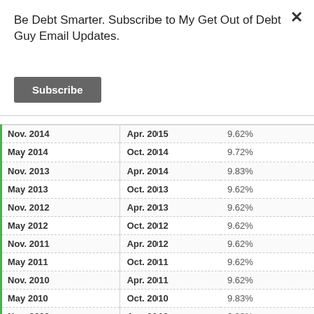Be Debt Smarter. Subscribe to My Get Out of Debt Guy Email Updates.
Subscribe
|  |  |  |
| --- | --- | --- |
| Nov. 2014 | Apr. 2015 | 9.62% |
| May 2014 | Oct. 2014 | 9.72% |
| Nov. 2013 | Apr. 2014 | 9.83% |
| May 2013 | Oct. 2013 | 9.62% |
| Nov. 2012 | Apr. 2013 | 9.62% |
| May 2012 | Oct. 2012 | 9.62% |
| Nov. 2011 | Apr. 2012 | 9.62% |
| May 2011 | Oct. 2011 | 9.62% |
| Nov. 2010 | Apr. 2011 | 9.62% |
| May 2010 | Oct. 2010 | 9.83% |
| Nov. 2009 | Apr. 2010 | 9.93% |
| May 2009 | Oct. 2009 | 9.72% |
| Nov. 2008 | Apr. 2009 | 10.35% |
| May 2008 | Oct. 2008 | 9.62% |
| Nov. 2007 | Apr. 2008 | 10.88% |
| May 2007 | Oct. 2007 | 10.98% |
| Nov. 2006 | Apr. 2007 | 11.09% |
| May 2006 | Oct. 2006 | 11.09% |
| Nov. 2005 | Apr. 2006 | 10.67% |